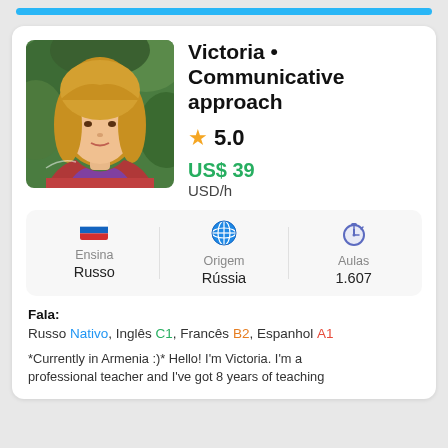[Figure (photo): Profile photo of Victoria, a blonde woman wearing a colorful off-shoulder dress, with green foliage in the background]
Victoria • Communicative approach
★ 5.0
US$ 39 USD/h
| Ensina | Origem | Aulas |
| --- | --- | --- |
| Russo | Rússia | 1.607 |
Fala:
Russo Nativo, Inglês C1, Francês B2, Espanhol A1
*Currently in Armenia :)* Hello! I'm Victoria. I'm a professional teacher and I've got 8 years of teaching